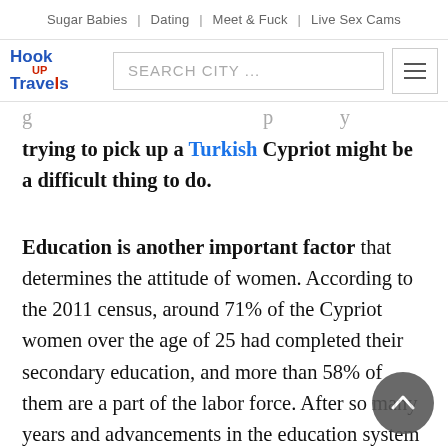Sugar Babies | Dating | Meet & Fuck | Live Sex Cams
[Figure (logo): Hook Up Travels logo with search bar and hamburger menu]
trying to pick up a Turkish Cypriot might be a difficult thing to do.
Education is another important factor that determines the attitude of women. According to the 2011 census, around 71% of the Cypriot women over the age of 25 had completed their secondary education, and more than 58% of them are a part of the labor force. After so many years and advancements in the education system and women welfare, the education rates and employment rates of women have increased. And